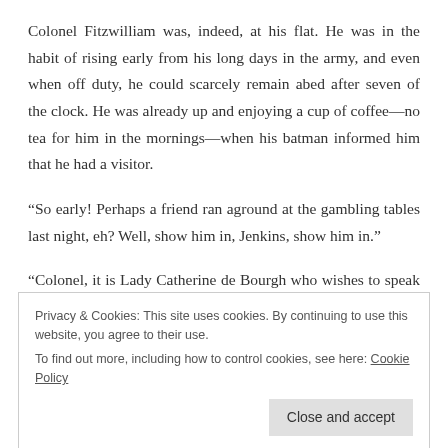Colonel Fitzwilliam was, indeed, at his flat. He was in the habit of rising early from his long days in the army, and even when off duty, he could scarcely remain abed after seven of the clock. He was already up and enjoying a cup of coffee—no tea for him in the mornings—when his batman informed him that he had a visitor.
“So early! Perhaps a friend ran aground at the gambling tables last night, eh? Well, show him in, Jenkins, show him in.”
“Colonel, it is Lady Catherine de Bourgh who wishes to speak with you.”
Privacy & Cookies: This site uses cookies. By continuing to use this website, you agree to their use.
To find out more, including how to control cookies, see here: Cookie Policy
want? Nevermind, Jenkins, of course, you